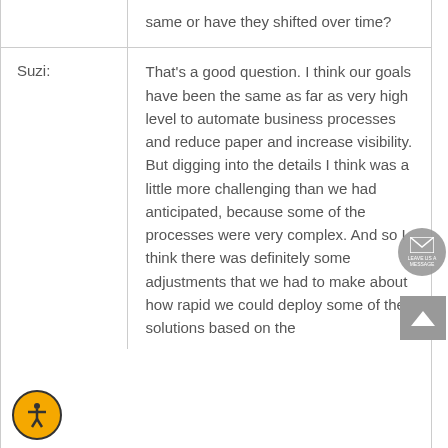|  | same or have they shifted over time? |
| Suzi: | That's a good question. I think our goals have been the same as far as very high level to automate business processes and reduce paper and increase visibility. But digging into the details I think was a little more challenging than we had anticipated, because some of the processes were very complex. And so I think there was definitely some adjustments that we had to make about how rapid we could deploy some of the solutions based on the |